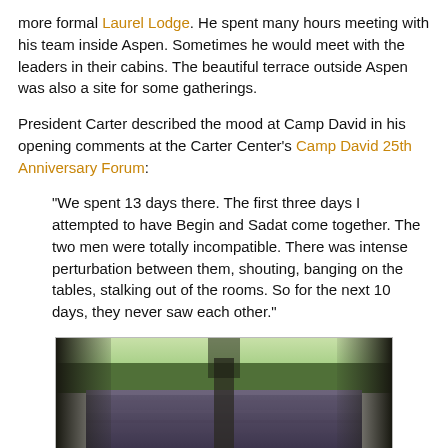more formal Laurel Lodge. He spent many hours meeting with his team inside Aspen. Sometimes he would meet with the leaders in their cabins. The beautiful terrace outside Aspen was also a site for some gatherings.
President Carter described the mood at Camp David in his opening comments at the Carter Center's Camp David 25th Anniversary Forum:
"We spent 13 days there. The first three days I attempted to have Begin and Sadat come together. The two men were totally incompatible. There was intense perturbation between them, shouting, banging on the tables, stalking out of the rooms. So for the next 10 days, they never saw each other."
[Figure (photo): Photograph of a rustic wooden building or cabin at Camp David, with trees in the background and a wooden terrace or deck visible.]